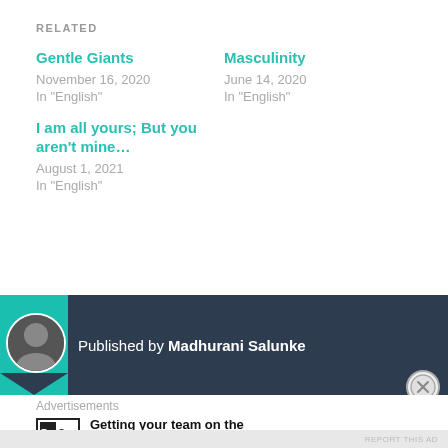RELATED
Gentle Giants
November 16, 2020
In "English"
Masculinity
June 14, 2020
In "English"
I am all yours; But you aren't mine…
August 1, 2021
In "English"
Published by Madhurani Salunke
Advertisements
Getting your team on the same page is easy. And free.